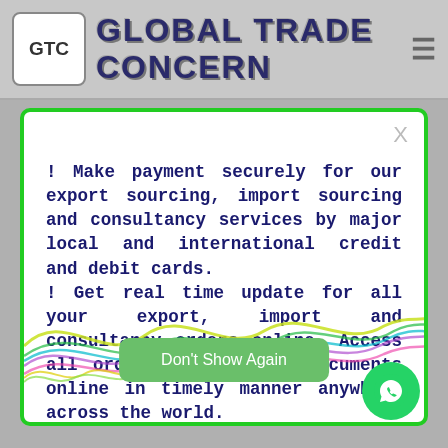GTC GLOBAL TRADE CONCERN
! Make payment securely for our export sourcing, import sourcing and consultancy services by major local and international credit and debit cards. ! Get real time update for all your export, import and consultancy orders online. Access all order and shipping documents online in timely manner anywhere across the world.
[Figure (illustration): Decorative multicolored wave lines at the bottom of the modal dialog]
Don't Show Again